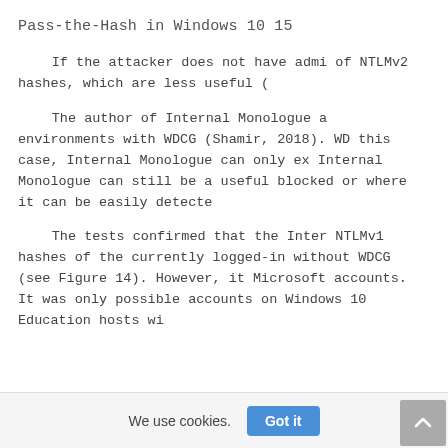Pass-the-Hash in Windows 10 15
If the attacker does not have admi of NTLMv2 hashes, which are less useful (
The author of Internal Monologue a environments with WDCG (Shamir, 2018). WD this case, Internal Monologue can only ex Internal Monologue can still be a useful blocked or where it can be easily detecte
The tests confirmed that the Inter NTLMv1 hashes of the currently logged-in without WDCG (see Figure 14). However, it Microsoft accounts. It was only possible accounts on Windows 10 Education hosts wi